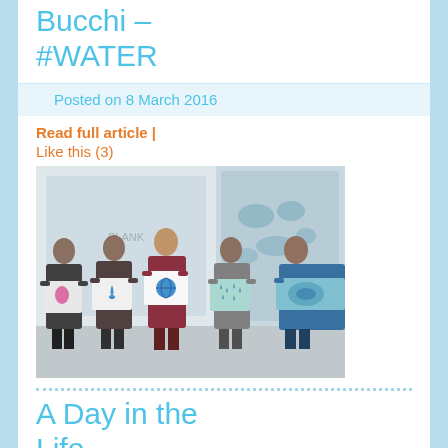Bucchi – #WATER
Posted on 8 March 2016
Read full article  |  Like this (3)
[Figure (photo): Group of five young women holding up decorated t-shirts with water-themed designs (water drop, raindrop, tie-dye) in front of a world map and whiteboard in a classroom setting.]
A Day in the Life
Posted on 7 March 2016
Read full article  |